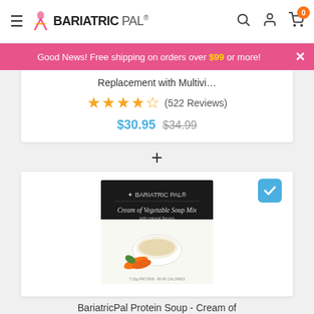[Figure (screenshot): BariatricPal website navigation bar with hamburger menu, logo, search, account, and cart icons]
Good News! Free shipping on orders over $99 or more!
Replacement with Multivi…
★★★★☆ (522 Reviews)
$30.95 $34.99
+
[Figure (photo): BariatricPal Protein Soup - Cream of Vegetable Soup Mix product box with image of soup bowl and vegetables]
BariatricPal Protein Soup - Cream of